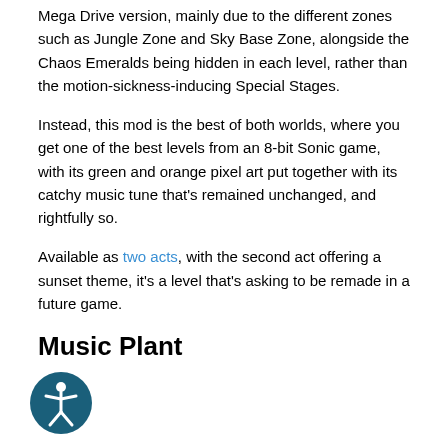Mega Drive version, mainly due to the different zones such as Jungle Zone and Sky Base Zone, alongside the Chaos Emeralds being hidden in each level, rather than the motion-sickness-inducing Special Stages.
Instead, this mod is the best of both worlds, where you get one of the best levels from an 8-bit Sonic game, with its green and orange pixel art put together with its catchy music tune that's remained unchanged, and rightfully so.
Available as two acts, with the second act offering a sunset theme, it's a level that's asking to be remade in a future game.
Music Plant
[Figure (logo): Accessibility icon: a dark teal circle with a white person figure (accessibility symbol) inside]